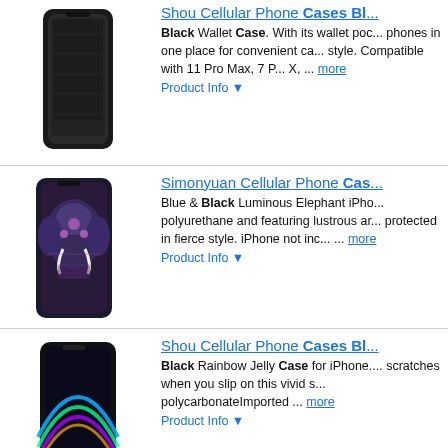[Figure (photo): Black leather wallet phone case for iPhone]
Shou Cellular Phone Cases Bl...
Black Wallet Case. With its wallet poc... phones in one place for convenient ca... style. Compatible with 11 Pro Max, 7 P... X, ... more
Product Info ▼
[Figure (photo): Blue and black luminous elephant iPhone case]
Simonyuan Cellular Phone Cas...
Blue & Black Luminous Elephant iPho... polyurethane and featuring lustrous ar... protected in fierce style. iPhone not inc... ... more
Product Info ▼
[Figure (photo): Black rainbow jelly case for iPhone held in hand]
Shou Cellular Phone Cases Bl...
Black Rainbow Jelly Case for iPhone.... scratches when you slip on this vivid s... polycarbonateImported ... more
Product Info ▼
[Figure (photo): Black rainbow jelly case for iPhone held in hand (second listing)]
Shou Cellular Phone Cases Bl...
Black Rainbow Jelly Case for iPhone.... scratches when you slip on this vivid s... polycarbonateImported ... more
Product Info ▼
[Figure (photo): Partial view of another Shou phone case]
Shou Cellular Phone Cases Bl...